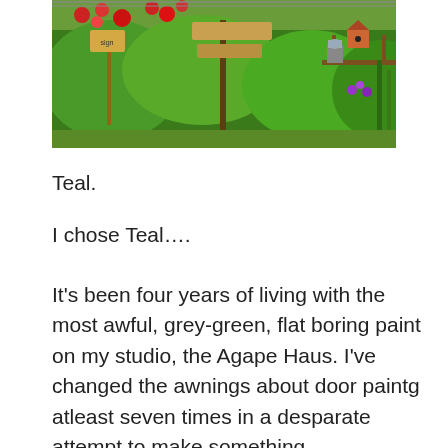[Figure (photo): A lush garden scene with green foliage, red roses, flowering plants, a birdhouse, and garden decorations on a sunny day.]
Teal.
I chose Teal….
It's been four years of living with the most awful, grey-green, flat boring paint on my studio, the Agape Haus. I've changed the awnings about door paintg atleast seven times in a desparate attempt to make something 'pop'…..nothing ever did.  It was more like a thud of stale yuk that hit me in the face every time I